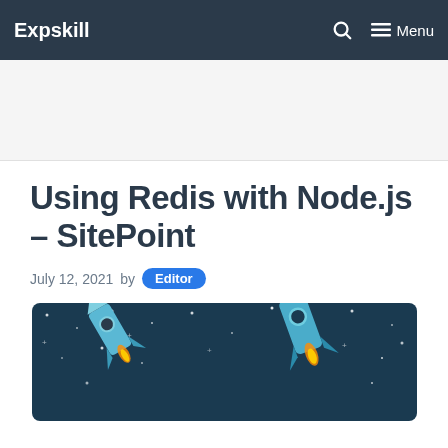Expskill | Menu
Using Redis with Node.js – SitePoint
July 12, 2021 by Editor
[Figure (illustration): Illustration of rockets in a dark starry night sky, blue/teal colored rockets on dark navy background with stars and a small yellow dot/planet]